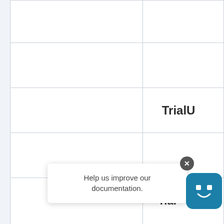|  |  |
|  |  |
|  | TrialU |
|  |  |
|  | rial |
Help us improve our documentation.
[Figure (illustration): Chatbot widget icon — teal rounded square with a smiley face]